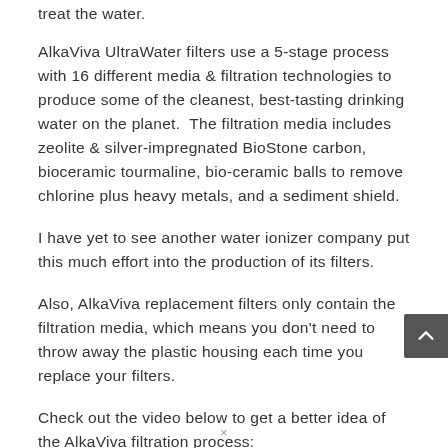treat the water.
AlkaViva UltraWater filters use a 5-stage process with 16 different media & filtration technologies to produce some of the cleanest, best-tasting drinking water on the planet. The filtration media includes zeolite & silver-impregnated BioStone carbon, bioceramic tourmaline, bio-ceramic balls to remove chlorine plus heavy metals, and a sediment shield.
I have yet to see another water ionizer company put this much effort into the production of its filters.
Also, AlkaViva replacement filters only contain the filtration media, which means you don't need to throw away the plastic housing each time you replace your filters.
Check out the video below to get a better idea of the AlkaViva filtration process:
×